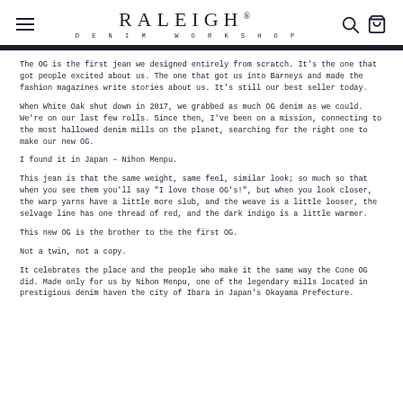RALEIGH DENIM WORKSHOP
The OG is the first jean we designed entirely from scratch. It's the one that got people excited about us. The one that got us into Barneys and made the fashion magazines write stories about us. It's still our best seller today.
When White Oak shut down in 2017, we grabbed as much OG denim as we could. We're on our last few rolls. Since then, I've been on a mission, connecting to the most hallowed denim mills on the planet, searching for the right one to make our new OG.
I found it in Japan – Nihon Menpu.
This jean is that the same weight, same feel, similar look; so much so that when you see them you'll say "I love those OG's!", but when you look closer, the warp yarns have a little more slub, and the weave is a little looser, the selvage line has one thread of red, and the dark indigo is a little warmer.
This new OG is the brother to the the first OG.
Not a twin, not a copy.
It celebrates the place and the people who make it the same way the Cone OG did. Made only for us by Nihon Menpu, one of the legendary mills located in prestigious denim haven the city of Ibara in Japan's Okayama Prefecture.